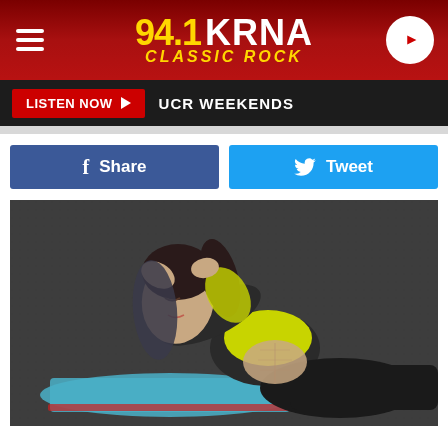[Figure (screenshot): 94.1 KRNA Classic Rock radio station website header with red background, hamburger menu icon on left, station logo in center (94.1 in gold, KRNA in white, Classic Rock subtitle in gold italic), and circular play button on right]
LISTEN NOW ▶   UCR WEEKENDS
[Figure (photo): Woman performing a sit-up/crunch exercise on a blue yoga mat outdoors on asphalt, wearing yellow sports bra and black leggings, hands behind head]